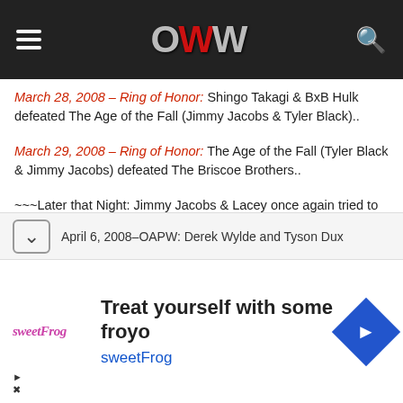OWW
March 28, 2008 – Ring of Honor: Shingo Takagi & BxB Hulk defeated The Age of the Fall (Jimmy Jacobs & Tyler Black)..
March 29, 2008 – Ring of Honor: The Age of the Fall (Tyler Black & Jimmy Jacobs) defeated The Briscoe Brothers..
~~~Later that Night: Jimmy Jacobs & Lacey once again tried to recruit Austin Aries into the Age of the Fall..
~~~Tammy Sytch offered money, fame, and sex to Austin Aries – but he turned Sunny down and left with Lacey..
April 6, 2008–OAPW: Derek Wylde and Tyson Dux
Treat yourself with some froyo sweetFrog